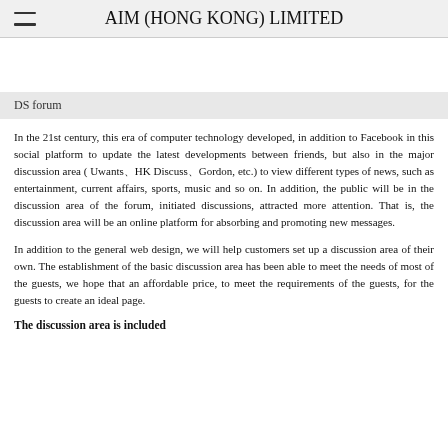AIM (HONG KONG) LIMITED
DS forum
In the 21st century, this era of computer technology developed, in addition to Facebook in this social platform to update the latest developments between friends, but also in the major discussion area ( Uwants、HK Discuss、Gordon, etc.) to view different types of news, such as entertainment, current affairs, sports, music and so on. In addition, the public will be in the discussion area of the forum, initiated discussions, attracted more attention. That is, the discussion area will be an online platform for absorbing and promoting new messages.
In addition to the general web design, we will help customers set up a discussion area of their own. The establishment of the basic discussion area has been able to meet the needs of most of the guests, we hope that an affordable price, to meet the requirements of the guests, for the guests to create an ideal page.
The discussion area is included